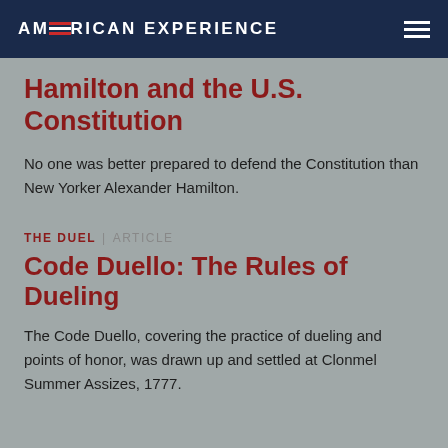AMERICAN EXPERIENCE
Hamilton and the U.S. Constitution
No one was better prepared to defend the Constitution than New Yorker Alexander Hamilton.
THE DUEL | ARTICLE
Code Duello: The Rules of Dueling
The Code Duello, covering the practice of dueling and points of honor, was drawn up and settled at Clonmel Summer Assizes, 1777.